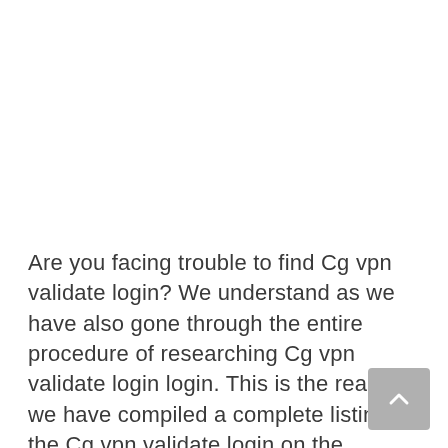Are you facing trouble to find Cg vpn validate login? We understand as we have also gone through the entire procedure of researching Cg vpn validate login login. This is the reason we have compiled a complete listing of the Cg vpn validate login on the internet.